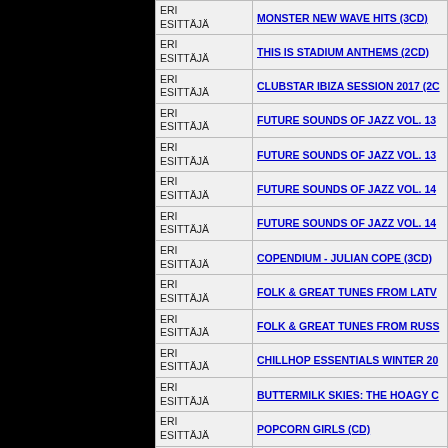| ERI ESITTÄJÄ | Title |
| --- | --- |
| ERI ESITTÄJÄ | MONSTER NEW WAVE HITS (3CD) |
| ERI ESITTÄJÄ | THIS IS STADIUM ANTHEMS (2CD) |
| ERI ESITTÄJÄ | CLUBSTAR IBIZA SESSION 2017 (2C... |
| ERI ESITTÄJÄ | FUTURE SOUNDS OF JAZZ VOL. 13 |
| ERI ESITTÄJÄ | FUTURE SOUNDS OF JAZZ VOL. 13 |
| ERI ESITTÄJÄ | FUTURE SOUNDS OF JAZZ VOL. 14 |
| ERI ESITTÄJÄ | FUTURE SOUNDS OF JAZZ VOL. 14 |
| ERI ESITTÄJÄ | COPENDIUM - JULIAN COPE (3CD) |
| ERI ESITTÄJÄ | FOLK & GREAT TUNES FROM LATV... |
| ERI ESITTÄJÄ | FOLK & GREAT TUNES FROM RUSS... |
| ERI ESITTÄJÄ | CHILLHOP ESSENTIALS WINTER 20... |
| ERI ESITTÄJÄ | BUTTERMILK SKIES: THE HOAGY C... |
| ERI ESITTÄJÄ | POPCORN GIRLS (CD) |
| ERI ESITTÄJÄ | SOHO CONTINENTAL (CD) |
| ERI ESITTÄJÄ | HOTEL DE PARIS (3CD) |
| ERI ESITTÄJÄ | SHAKE THE FOUNDATIONS: MILITA... 1984: CLAMSHELL BOX (3CD) |
| ERI ESITTÄJÄ | THE SUN SHINES HERE - THE ROO... |
| ERI ESITTÄJÄ | MUSIK MUSIC MUSIQUE 2.0 THE RI... |
| ERI ESITTÄJÄ | CD1 - 3Cd Clamshell Box (3CD) |